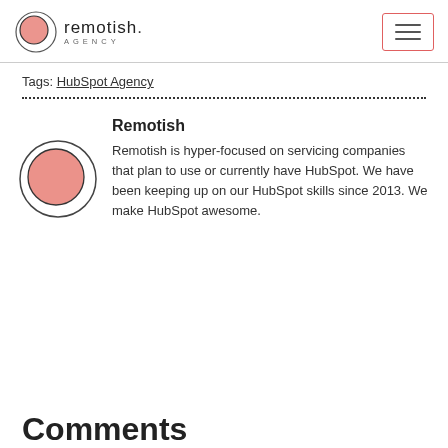[Figure (logo): Remotish Agency logo with circular salmon-pink icon and text 'remotish. AGENCY']
Tags: HubSpot Agency
Remotish
[Figure (photo): Circular avatar image with salmon-pink circle on white background with dark border]
Remotish is hyper-focused on servicing companies that plan to use or currently have HubSpot. We have been keeping up on our HubSpot skills since 2013. We make HubSpot awesome.
Comments